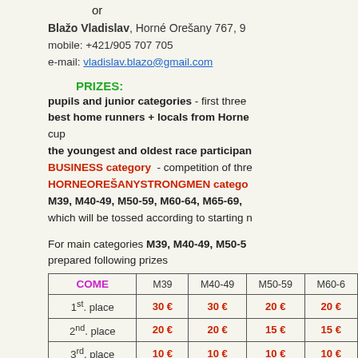or
Blažo Vladislav, Horné Orešany 767, 9
mobile: +421/905 707 705
e-mail: vladislav.blazo@gmail.com
PRIZES:
pupils and junior categories - first three
best home runners + locals from Horne
cup
the youngest and oldest race participan
BUSINESS category - competition of thre
HORNEOREŠANYSTRONGMEN catego
M39, M40-49, M50-59, M60-64, M65-69,
which will be tossed according to starting n
For main categories M39, M40-49, M50-59
prepared following prizes
| COME | M39 | M40-49 | M50-59 | M60-6 |
| --- | --- | --- | --- | --- |
| 1st. place | 30 € | 30 € | 20 € | 20 € |
| 2nd. place | 20 € | 20 € | 15 € | 15 € |
| 3rd. place | 10 € | 10 € | 10 € | 10 € |
For male cetegories M39, M40-49, M50-